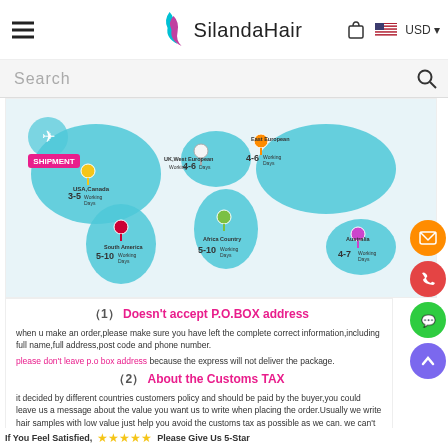Silanda Hair — USD
[Figure (map): World shipment map showing delivery times to different regions: USA/Canada 3-5 Working Days, UK/West European 4-6 Working Days, East European 4-6 Working Days, South America 5-10 Working Days, Africa Country 5-10 Working Days, Australia 4-7 Working Days]
(1) Doesn't accept P.O.BOX address
when u make an order,please make sure you have left the complete correct information,including full name,full address,post code and phone number.
please don't leave p.o box address because the express will not deliver the package.
(2) About the Customs TAX
it decided by different countries customers policy and should be paid by the buyer,you could leave us a message about the value you want us to write when placing the order.Usually we write hair samples with low value just help you avoid the customs tax as possible as we can. we can't promise it will 100% go through,you will the original hair as your order shows.
If You Feel Satisfied, Please Give Us 5-Star